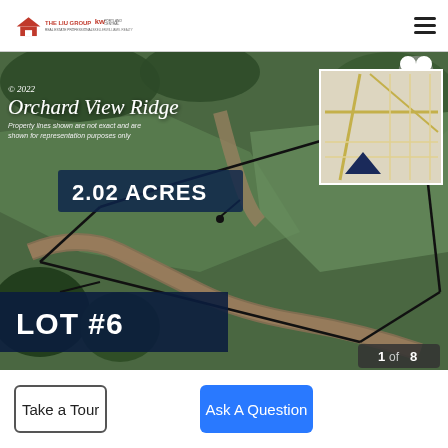[Figure (logo): The Liu Group KW Keller Williams Realty logo in header]
[Figure (photo): Aerial drone photo of Orchard View Ridge property showing Lot #6, 2.02 acres of green land with roads, overlaid with property boundary lines and a mini map inset]
Take a Tour
Ask A Question